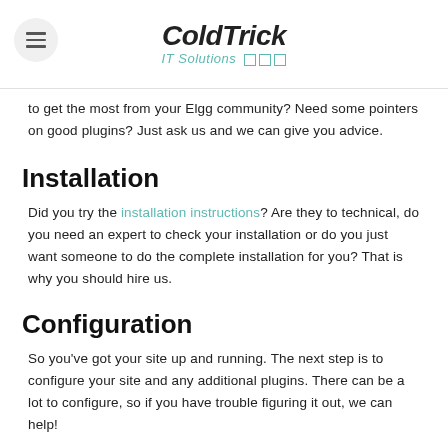ColdTrick IT Solutions
to get the most from your Elgg community? Need some pointers on good plugins? Just ask us and we can give you advice.
Installation
Did you try the installation instructions? Are they to technical, do you need an expert to check your installation or do you just want someone to do the complete installation for you? That is why you should hire us.
Configuration
So you've got your site up and running. The next step is to configure your site and any additional plugins. There can be a lot to configure, so if you have trouble figuring it out, we can help!